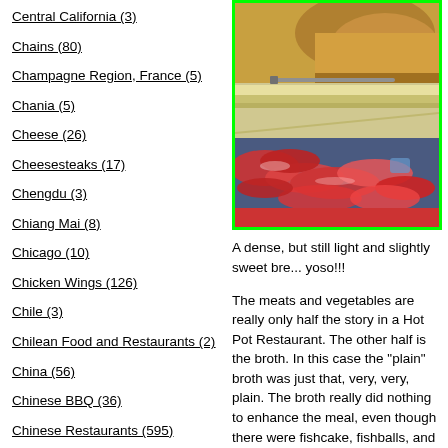Central California (3)
Chains (80)
Champagne Region, France (5)
Chania (5)
Cheese (26)
Cheesesteaks (17)
Chengdu (3)
Chiang Mai (8)
Chicago (10)
Chicken Wings (126)
Chile (3)
Chilean Food and Restaurants (2)
China (56)
Chinese BBQ (36)
Chinese Restaurants (595)
Chocolate (14)
Cocktails (24)
Coimbra (5)
[Figure (photo): Close-up photo of bread/bun on top and sliced red meat (possibly raw beef or ham) at the bottom, in a restaurant hot pot setting. Green border around the image.]
A dense, but still light and slightly sweet bre... yoso!!!
The meats and vegetables are really only half the story in a Hot Pot Restaurant. The other half is the broth. In this case the "plain" broth was just that, very, very, plain. The broth really did nothing to enhance the meal, even though there were fishcake, fishballs, and other items in the broth, it was very bland.
The spicy broth, was just that.....